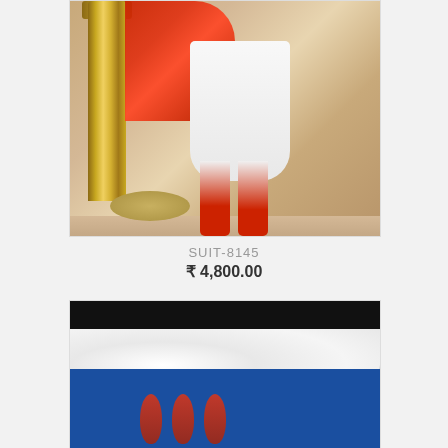[Figure (photo): Fashion product photo showing lower half of model wearing white anarkali kurta with red dupatta and red churidar pants, standing near a gold decorative pillar with hay on the floor]
SUIT-8145
₹ 4,800.00
[Figure (photo): Product flat lay showing white fabric/fur material and blue background with red floral drop earrings, with a black bar at the top]